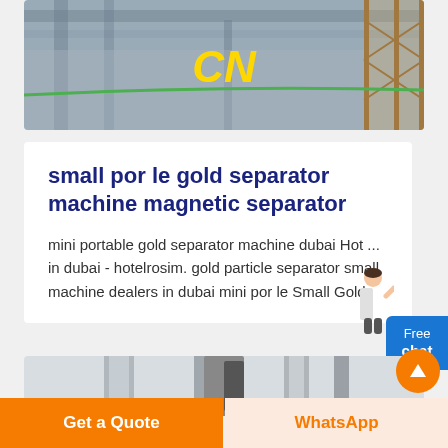[Figure (photo): Industrial machinery background with CN logo in yellow italic text]
small por le gold separator machine magnetic separator
mini portable gold separator machine dubai Hot ... in dubai - hotelrosim. gold particle separator small machine dealers in dubai mini por le Small Gold ...
[Figure (photo): Close-up of industrial separator machine components in grey tones]
Get a Quote
WhatsApp